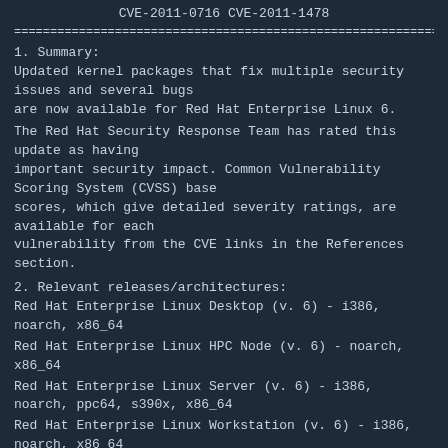CVE-2011-0716 CVE-2011-1478
================================================================
1. Summary:
Updated kernel packages that fix multiple security issues and several bugs are now available for Red Hat Enterprise Linux 6.
The Red Hat Security Response Team has rated this update as having important security impact. Common Vulnerability Scoring System (CVSS) base scores, which give detailed severity ratings, are available for each vulnerability from the CVE links in the References section.
2. Relevant releases/architectures:
Red Hat Enterprise Linux Desktop (v. 6) - i386, noarch, x86_64
Red Hat Enterprise Linux HPC Node (v. 6) - noarch, x86_64
Red Hat Enterprise Linux Server (v. 6) - i386, noarch, ppc64, s390x, x86_64
Red Hat Enterprise Linux Workstation (v. 6) - i386, noarch, x86_64
3. Description:
The kernel packages contain the Linux kernel, the core of any Linux operating system.
This update fixes the following security issues:
* A flaw was found in the sctp_icmp_proto_unreachable() function in the Linux kernel's Stream Control Transmission Protocol (SCTP) implementation. A remote attacker could use this flaw to cause a denial of service. (CVE-2010-4526, Important)